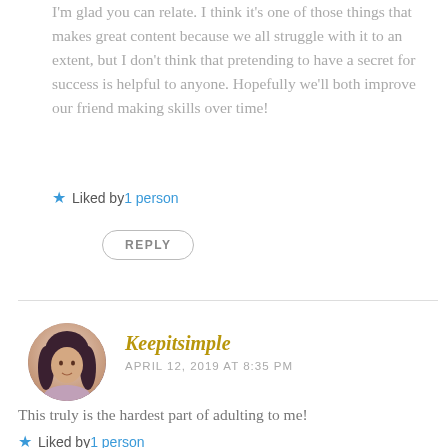I'm glad you can relate. I think it's one of those things that makes great content because we all struggle with it to an extent, but I don't think that pretending to have a secret for success is helpful to anyone. Hopefully we'll both improve our friend making skills over time!
★ Liked by 1 person
REPLY
Keepitsimple
APRIL 12, 2019 AT 8:35 PM
This truly is the hardest part of adulting to me!
★ Liked by 1 person